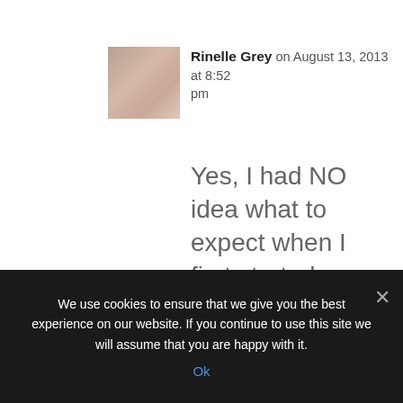[Figure (photo): Small avatar photo of a woman, Rinelle Grey]
Rinelle Grey on August 13, 2013 at 8:52 pm
Yes, I had NO idea what to expect when I first started contacting editors. The samples gave me a bit of an idea, and this time I'm (hopefully) a little more prepared.
We use cookies to ensure that we give you the best experience on our website. If you continue to use this site we will assume that you are happy with it.
Ok